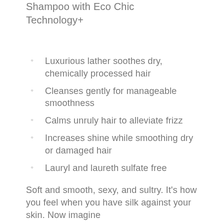Shampoo with Eco Chic Technology+
Luxurious lather soothes dry, chemically processed hair
Cleanses gently for manageable smoothness
Calms unruly hair to alleviate frizz
Increases shine while smoothing dry or damaged hair
Lauryl and laureth sulfate free
Soft and smooth, sexy, and sultry. It's how you feel when you have silk against your skin. Now imagine that same feeling on hair. Smooth...